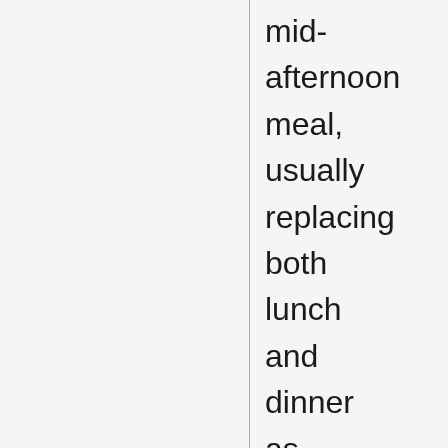mid-afternoon meal, usually replacing both lunch and dinner as the main, or even only,